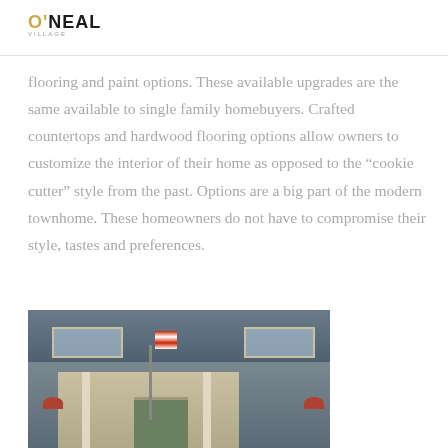O'NEAL
flooring and paint options. These available upgrades are the same available to single family homebuyers. Crafted countertops and hardwood flooring options allow owners to customize the interior of their home as opposed to the “cookie cutter” style from the past. Options are a big part of the modern townhome. These homeowners do not have to compromise their style, tastes and preferences.
[Figure (photo): Exterior photo of a townhome with dark gray siding, white porch columns, an American flag, a green front door, and flower boxes]